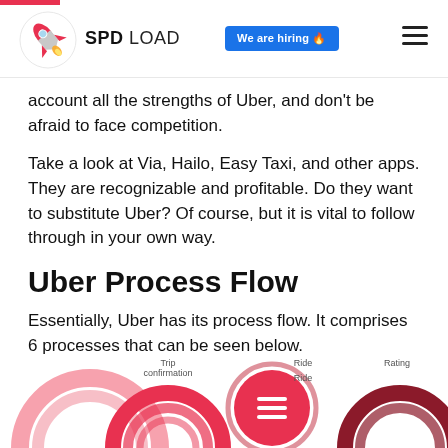SPD LOAD — We are hiring 🔥
account all the strengths of Uber, and don't be afraid to face competition.
Take a look at Via, Hailo, Easy Taxi, and other apps. They are recognizable and profitable. Do they want to substitute Uber? Of course, but it is vital to follow through in your own way.
Uber Process Flow
Essentially, Uber has its process flow. It comprises 6 processes that can be seen below.
[Figure (infographic): Partial view of Uber process flow diagram showing circular icons for Trip confirmation, Ride, and Rating steps with red concentric ring designs]